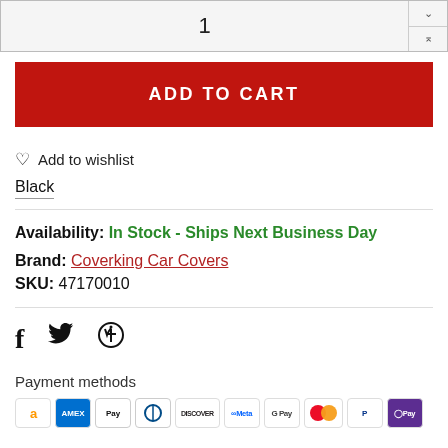1
ADD TO CART
Add to wishlist
Black
Availability: In Stock - Ships Next Business Day
Brand: Coverking Car Covers
SKU: 47170010
[Figure (infographic): Social media share icons: Facebook (f), Twitter (bird), Pinterest (p)]
Payment methods
[Figure (infographic): Payment method icons: Amazon, AMEX, Apple Pay, Diners, Discover, Meta, Google Pay, Mastercard, PayPal, OPay]